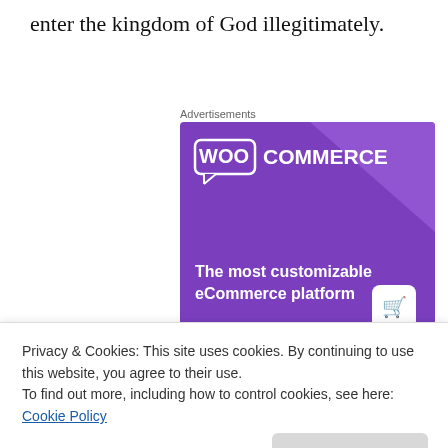enter the kingdom of God illegitimately.
Advertisements
[Figure (illustration): WooCommerce advertisement banner with purple background. Shows WooCommerce logo at top left, tagline 'The most customizable eCommerce platform' in white text, a shopping cart icon, and a 'Start a new store' button area at the bottom.]
Privacy & Cookies: This site uses cookies. By continuing to use this website, you agree to their use.
To find out more, including how to control cookies, see here: Cookie Policy
God, and if you haven't made the commitment to serve